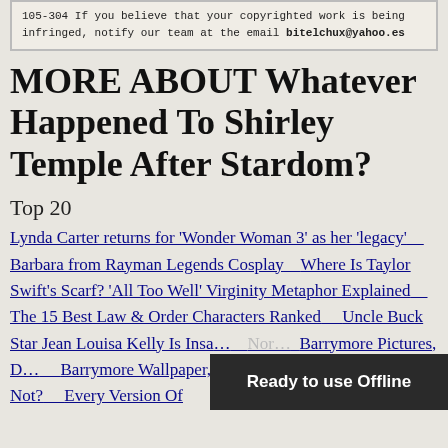105-304 If you believe that your copyrighted work is being infringed, notify our team at the email bitelchux@yahoo.es
MORE ABOUT Whatever Happened To Shirley Temple After Stardom?
Top 20
Lynda Carter returns for ‘Wonder Woman 3’ as her ‘legacy’
Barbara from Rayman Legends Cosplay
Where Is Taylor Swift’s Scarf? ‘All Too Well’ Virginity Metaphor Explained
The 15 Best Law & Order Characters Ranked
Uncle Buck Star Jean Louisa Kelly Is Insa…
Barrymore Pictures, D…
Barrymore Wallpaper, D…
Drew Barrymore Hot Or Not?
Every Version Of…
Ready to use Offline